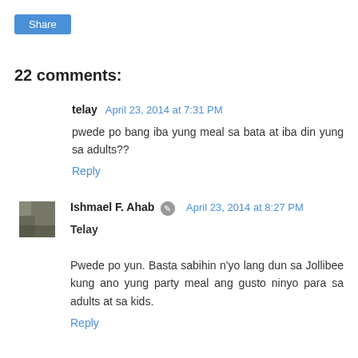[Figure (other): Share button - blue rounded rectangle with white text 'Share']
22 comments:
telay  April 23, 2014 at 7:31 PM
pwede po bang iba yung meal sa bata at iba din yung sa adults??
Reply
Ishmael F. Ahab  April 23, 2014 at 8:27 PM
Telay
Pwede po yun. Basta sabihin n'yo lang dun sa Jollibee kung ano yung party meal ang gusto ninyo para sa adults at sa kids.
Reply